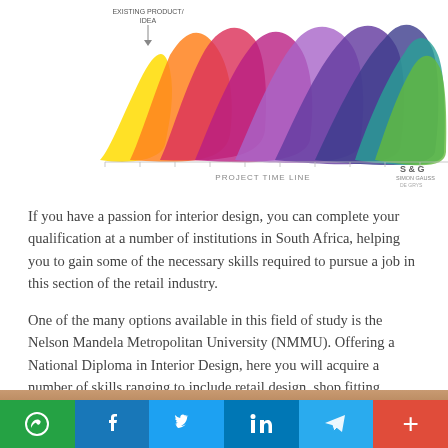[Figure (area-chart): Colorful overlapping area chart showing design process phases over a project timeline. Multiple colored areas (yellow, orange, red/pink, magenta, purple, dark purple, blue, teal, green) overlap across the x-axis labeled PROJECT TIME LINE. An annotation reads EXISTING PRODUCT/IDEA near the start.]
If you have a passion for interior design, you can complete your qualification at a number of institutions in South Africa, helping you to gain some of the necessary skills required to pursue a job in this section of the retail industry.
One of the many options available in this field of study is the Nelson Mandela Metropolitan University (NMMU). Offering a National Diploma in Interior Design, here you will acquire a number of skills ranging to include retail design, shop fitting, interior design theory and marketing, to name but a few.
[Figure (photo): Photograph of interior ceiling with recessed lighting fixtures visible — warm brown and neutral tones.]